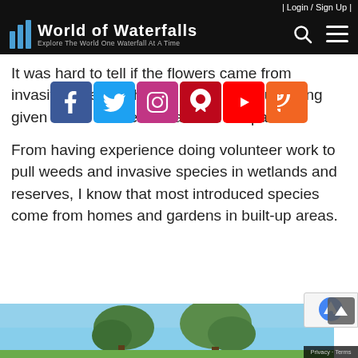| Login / Sign Up |
[Figure (logo): World of Waterfalls logo with blue bar icon and text 'Explore The World One Waterfall At A Time']
[Figure (infographic): Social media share buttons: Facebook, Twitter, Instagram, Pinterest, YouTube, RSS]
It was hard to tell if the flowers came from invasive weeds, wh…t surprising given all the residences around the park.
From having experience doing volunteer work to pull weeds and invasive species in wetlands and reserves, I know that most introduced species come from homes and gardens in built-up areas.
[Figure (photo): Outdoor photo showing trees against a blue sky]